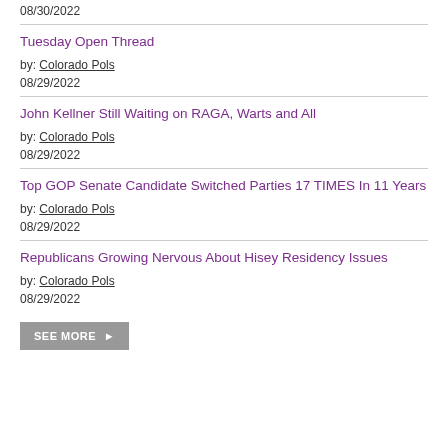08/30/2022
Tuesday Open Thread
by: Colorado Pols
08/29/2022
John Kellner Still Waiting on RAGA, Warts and All
by: Colorado Pols
08/29/2022
Top GOP Senate Candidate Switched Parties 17 TIMES In 11 Years
by: Colorado Pols
08/29/2022
Republicans Growing Nervous About Hisey Residency Issues
by: Colorado Pols
08/29/2022
SEE MORE ▶